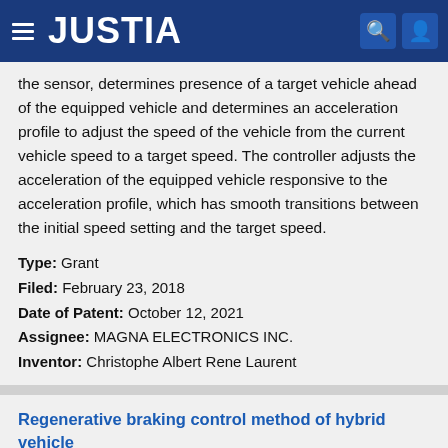JUSTIA
the sensor, determines presence of a target vehicle ahead of the equipped vehicle and determines an acceleration profile to adjust the speed of the vehicle from the current vehicle speed to a target speed. The controller adjusts the acceleration of the equipped vehicle responsive to the acceleration profile, which has smooth transitions between the initial speed setting and the target speed.
Type: Grant
Filed: February 23, 2018
Date of Patent: October 12, 2021
Assignee: MAGNA ELECTRONICS INC.
Inventor: Christophe Albert Rene Laurent
Regenerative braking control method of hybrid vehicle
Patent number: 11046316
Abstract: A regenerative braking control method of a